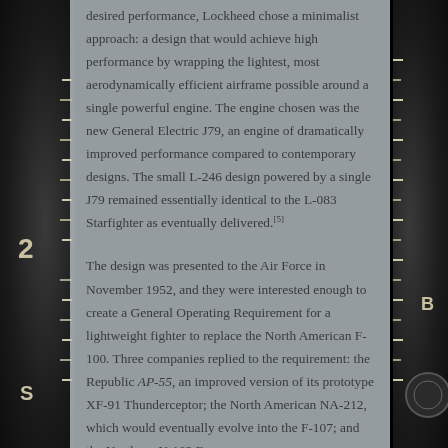desired performance, Lockheed chose a minimalist approach: a design that would achieve high performance by wrapping the lightest, most aerodynamically efficient airframe possible around a single powerful engine. The engine chosen was the new General Electric J79, an engine of dramatically improved performance compared to contemporary designs. The small L-246 design powered by a single J79 remained essentially identical to the L-083 Starfighter as eventually delivered.[5]
The design was presented to the Air Force in November 1952, and they were interested enough to create a General Operating Requirement for a lightweight fighter to replace the North American F-100. Three companies replied to the requirement: the Republic AP-55, an improved version of its prototype XF-91 Thunderceptor; the North American NA-212, which would eventually evolve into the F-107; and the Northrop N-102 Fang,